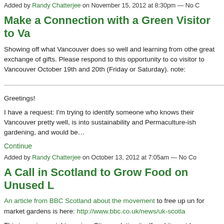Added by Randy Chatterjee on November 15, 2012 at 8:30pm — No C
Make a Connection with a Green Visitor to Va
Showing off what Vancouver does so well and learning from othe great exchange of gifts. Please respond to this opportunity to co visitor to Vancouver October 19th and 20th (Friday or Saturday). note:
Greetings!
I have a request: I'm trying to identify someone who knows their Vancouver pretty well, is into sustainability and Permaculture-ish gardening, and would be…
Continue
Added by Randy Chatterjee on October 13, 2012 at 7:05am — No Co
A Call in Scotland to Grow Food on Unused L
An article from BBC Scotland about the movement to free up un for market gardens is here: http://www.bbc.co.uk/news/uk-scotla
This issue is crucial to us in a City regulating itself and its reside